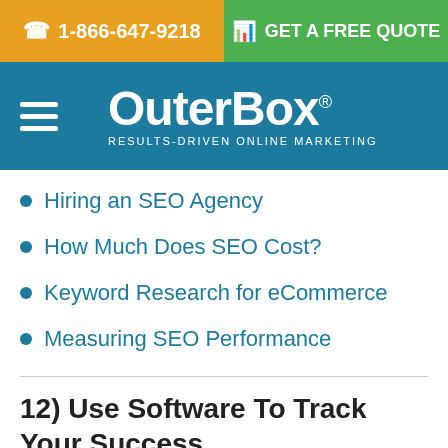1-866-647-9218 | GET A FREE QUOTE
[Figure (logo): OuterBox logo with tagline RESULTS-DRIVEN ONLINE MARKETING on teal/blue background with hamburger menu icon]
Hiring an SEO Agency
How Much Does SEO Cost?
Keyword Research for eCommerce
Measuring SEO Performance
12) Use Software To Track Your Success
There are many softwares that you'll want to use to track the success of sales and your marketing campaigns in